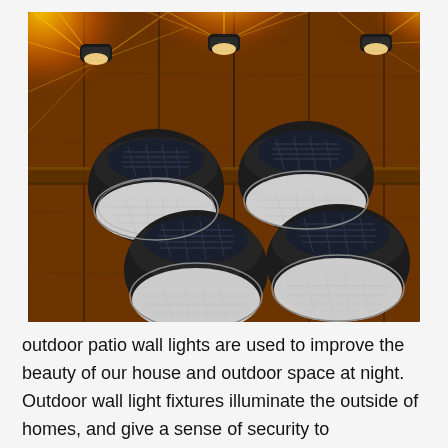[Figure (photo): Four black solar-powered outdoor wall lights with clear faceted lens covers and solar panels on top, arranged in a 2x2 grid. Background shows warm golden-orange light bursts radiating on wooden fence panels, demonstrating the lights in use at night.]
outdoor patio wall lights are used to improve the beauty of our house and outdoor space at night. Outdoor wall light fixtures illuminate the outside of homes, and give a sense of security to homeowners